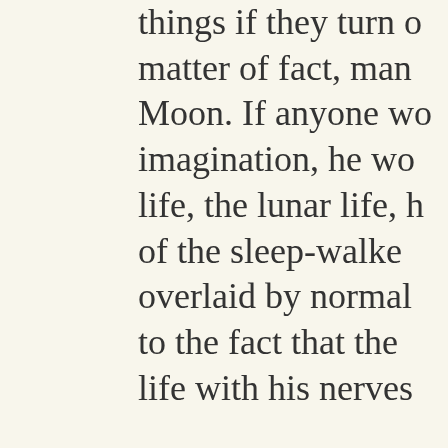things if they turn out — as a matter of fact, man — Moon. If anyone would use his imagination, he would see life, the lunar life, he is kind of the sleep-walker there, overlaid by normal — due to the fact that the life with his nerves — This gives a sort of forces of the Earth, now have the direo — When we now look the earthly influenc you to turn your att ideas about home- so on. But I ask you